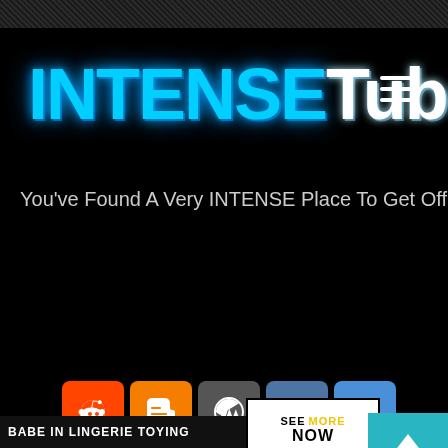[Figure (logo): INTENSETube logo with cyan/blue glowing text on black background]
You've Found A Very INTENSE Place To Get Off!
[Figure (infographic): Social sharing icons: Facebook, Twitter, Email, Pinterest, Tumblr, Reddit, Blogger, WordPress, VK, Share More]
BABE IN LINGERIE TOYING